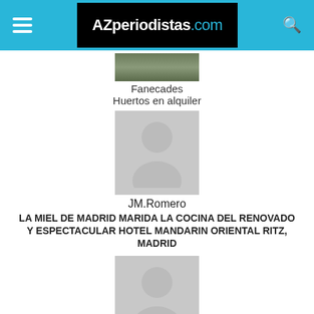AZperiodistas.com
[Figure (photo): Thumbnail image of Fanecades (huertos/garden plots)]
Fanecades
Huertos en alquiler
[Figure (photo): Generic person avatar placeholder (grey silhouette) for JM.Romero]
JM.Romero
LA MIEL DE MADRID MARIDA LA COCINA DEL RENOVADO Y ESPECTACULAR HOTEL MANDARIN ORIENTAL RITZ, MADRID
[Figure (photo): Generic person avatar placeholder (grey silhouette) for Cocinillas]
Cocinillas
5 Accesorios para la Babycook
[Figure (photo): Generic person avatar placeholder (grey silhouette), partially cut off at bottom]